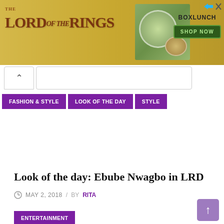[Figure (photo): Lord of the Rings advertisement banner with BoxLunch branding, showing LOTR logo on left, food image in center, and 'SHOP NOW' button on right]
FASHION & STYLE   LOOK OF THE DAY   STYLE
Look of the day: Ebube Nwagbo in LRD
MAY 2, 2018 / BY RITA
ENTERTAINMENT